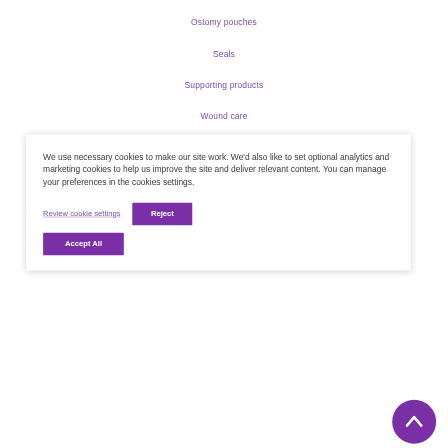Ostomy pouches
Seals
Supporting products
Wound care
We use necessary cookies to make our site work. We'd also like to set optional analytics and marketing cookies to help us improve the site and deliver relevant content. You can manage your preferences in the cookies settings.
Review cookie settings
Reject
Accept All